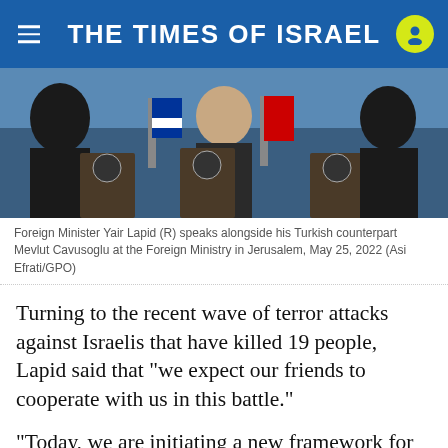THE TIMES OF ISRAEL
[Figure (photo): Two men standing at podiums with flags in background at Foreign Ministry Jerusalem]
Foreign Minister Yair Lapid (R) speaks alongside his Turkish counterpart Mevlut Cavusoglu at the Foreign Ministry in Jerusalem, May 25, 2022 (Asi Efrati/GPO)
Turning to the recent wave of terror attacks against Israelis that have killed 19 people, Lapid said that “we expect our friends to cooperate with us in this battle.”
“Today, we are initiating a new framework for improving our relations that not only we, but our children, will benefit from for years to come,” said Lapid.